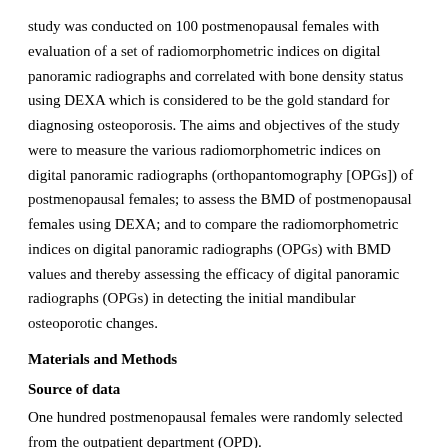study was conducted on 100 postmenopausal females with evaluation of a set of radiomorphometric indices on digital panoramic radiographs and correlated with bone density status using DEXA which is considered to be the gold standard for diagnosing osteoporosis. The aims and objectives of the study were to measure the various radiomorphometric indices on digital panoramic radiographs (orthopantomography [OPGs]) of postmenopausal females; to assess the BMD of postmenopausal females using DEXA; and to compare the radiomorphometric indices on digital panoramic radiographs (OPGs) with BMD values and thereby assessing the efficacy of digital panoramic radiographs (OPGs) in detecting the initial mandibular osteoporotic changes.
Materials and Methods
Source of data
One hundred postmenopausal females were randomly selected from the outpatient department (OPD).
Inclusion criteria:
Female patients within the age group of 45–70 years.
Exclusion criteria: